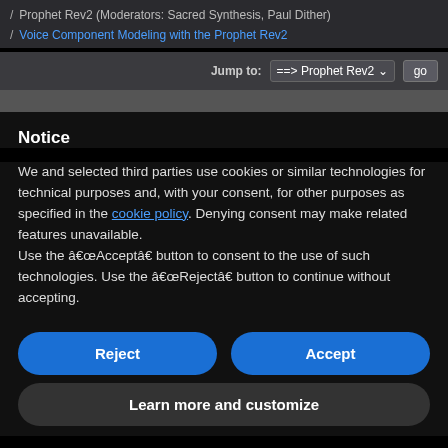/ Prophet Rev2 (Moderators: Sacred Synthesis, Paul Dither)
/ Voice Component Modeling with the Prophet Rev2
Jump to: ===> Prophet Rev2  go
Notice
We and selected third parties use cookies or similar technologies for technical purposes and, with your consent, for other purposes as specified in the cookie policy. Denying consent may make related features unavailable.
Use the “Accept” button to consent to the use of such technologies. Use the “Reject” button to continue without accepting.
Reject
Accept
Learn more and customize